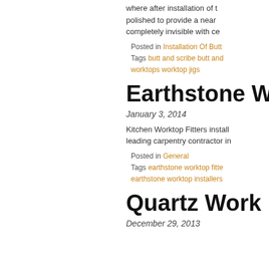where after installation of the worktops are polished to provide a near completely invisible with ce
Posted in Installation Of Butt
Tags butt and scribe butt and worktops worktop jigs
Earthstone W
January 3, 2014
Kitchen Worktop Fitters install leading carpentry contractor in
Posted in General
Tags earthstone worktop fitte earthstone worktop installers
Quartz Work
December 29, 2013